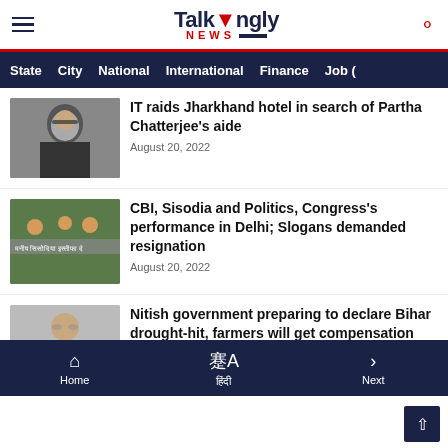Talkingly NEWS
State  City  National  International  Finance  Job (
IT raids Jharkhand hotel in search of Partha Chatterjee's aide
August 20, 2022
CBI, Sisodia and Politics, Congress's performance in Delhi; Slogans demanded resignation
August 20, 2022
Nitish government preparing to declare Bihar drought-hit, farmers will get compensation
Home  हिंदी  Next